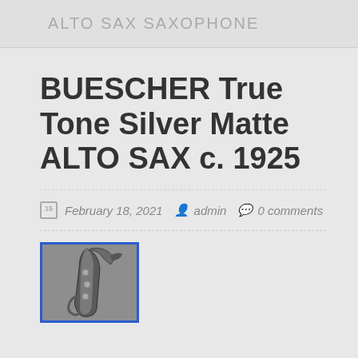ALTO SAX SAXOPHONE
BUESCHER True Tone Silver Matte ALTO SAX c. 1925
February 18, 2021  admin  0 comments
[Figure (photo): Thumbnail photo of a Buescher True Tone alto saxophone, silver matte finish, circa 1925, shown with a blue border]